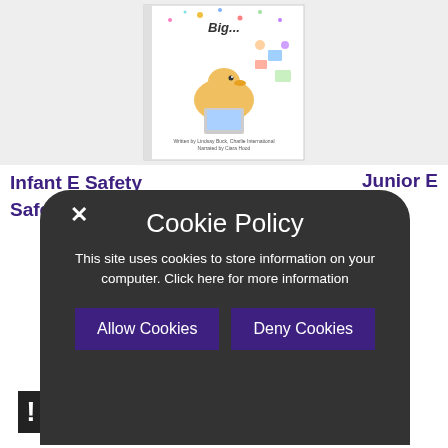[Figure (illustration): Book cover showing a cartoon duckling using a laptop with colorful floating icons, confetti, titled partially visible as 'Big...' with author credits visible at bottom. White background with light gray page background.]
Infant E Safety / Safety
Junior E
[Figure (screenshot): Cookie Policy popup overlay on dark rounded rectangle background. Contains title 'Cookie Policy', body text 'This site uses cookies to store information on your computer. Click here for more information', and two buttons: 'Allow Cookies' and 'Deny Cookies'. Close X button top left.]
FDES
!